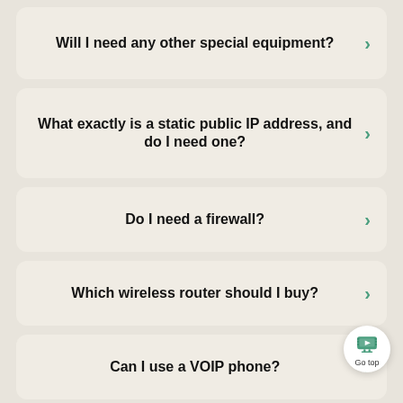Will I need any other special equipment?
What exactly is a static public IP address, and do I need one?
Do I need a firewall?
Which wireless router should I buy?
Can I use a VOIP phone?